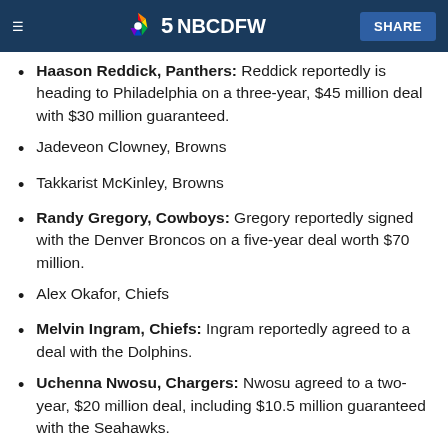NBC DFW — SHARE
Haason Reddick, Panthers: Reddick reportedly is heading to Philadelphia on a three-year, $45 million deal with $30 million guaranteed.
Jadeveon Clowney, Browns
Takkarist McKinley, Browns
Randy Gregory, Cowboys: Gregory reportedly signed with the Denver Broncos on a five-year deal worth $70 million.
Alex Okafor, Chiefs
Melvin Ingram, Chiefs: Ingram reportedly agreed to a deal with the Dolphins.
Uchenna Nwosu, Chargers: Nwosu agreed to a two-year, $20 million deal, including $10.5 million guaranteed with the Seahawks.